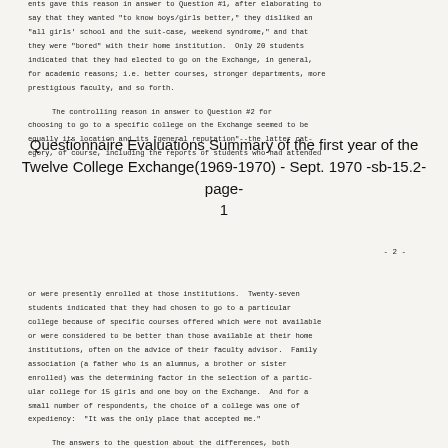ents gave this reason in answer to Question #1, after elaborating to say that they wanted "to know boys/girls better," they disliked an "all girls' school and the suit-case, weekend syndrome," and that they were "bored" with their home institution. Only 20 students indicated that they had elected to go on the Exchange, in general, for academic reasons; i.e. better courses, stronger departments, more prestigious faculty, and so forth.
The controlling reason in answer to Question #2 for choosing to go to a specific college on the Exchange seemed to be equally its location and its "general reputation"--the latter category, of course, including the reports of students who had attended
Questionnaire Evaluations Summary of the first year of the Twelve College Exchange(1969-1970) - Sept. 1970 -sb-15.2-page-1
- 2 -
or were presently enrolled at those institutions. Twenty-seven students indicated that they had chosen to go to a particular college because of specific courses offered which were not available or were considered to be better than those available at their home institutions, often on the advice of their faculty advisor. Family association (a father who is an alumnus, a brother or sister enrolled) was the determining factor in the selection of a particular college for 15 girls and one boy on the Exchange. And for a small number of respondents, the choice of a college was one of expediency: "It was the only place that accepted me."
The answers to the question about the differences, both social and academic, between the home and the host institution were